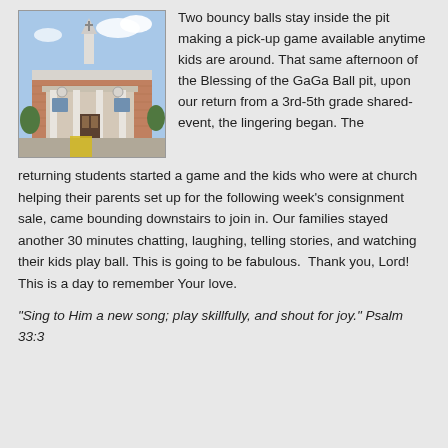[Figure (photo): Exterior photo of a brick church building with a white steeple, covered entrance with columns, and a yellow ramp or pathway visible in front.]
Two bouncy balls stay inside the pit making a pick-up game available anytime kids are around. That same afternoon of the Blessing of the GaGa Ball pit, upon our return from a 3rd-5th grade shared-event, the lingering began. The returning students started a game and the kids who were at church helping their parents set up for the following week's consignment sale, came bounding downstairs to join in. Our families stayed another 30 minutes chatting, laughing, telling stories, and watching their kids play ball. This is going to be fabulous.  Thank you, Lord! This is a day to remember Your love.
“Sing to Him a new song; play skillfully, and shout for joy.” Psalm 33:3